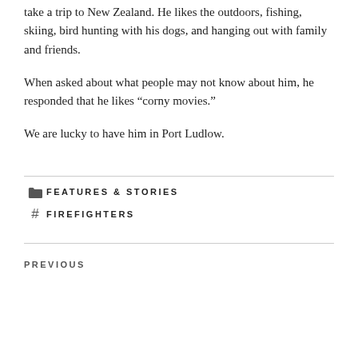take a trip to New Zealand. He likes the outdoors, fishing, skiing, bird hunting with his dogs, and hanging out with family and friends.
When asked about what people may not know about him, he responded that he likes “corny movies.”
We are lucky to have him in Port Ludlow.
FEATURES & STORIES
FIREFIGHTERS
PREVIOUS